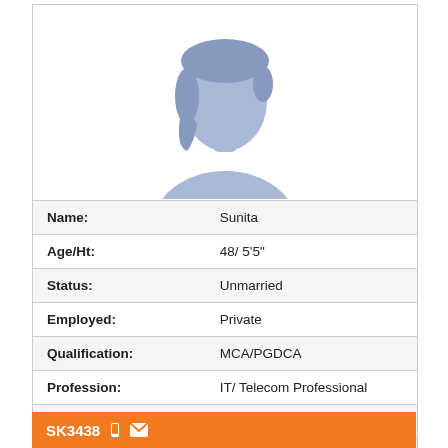[Figure (illustration): Silhouette placeholder image of a female person, light blue/purple color, on white background]
| Name: | Sunita |
| Age/Ht: | 48/ 5'5" |
| Status: | Unmarried |
| Employed: | Private |
| Qualification: | MCA/PGDCA |
| Profession: | IT/ Telecom Professional |
| Location: | Gurgaon, Delhi, India |
View Profile
SK3438